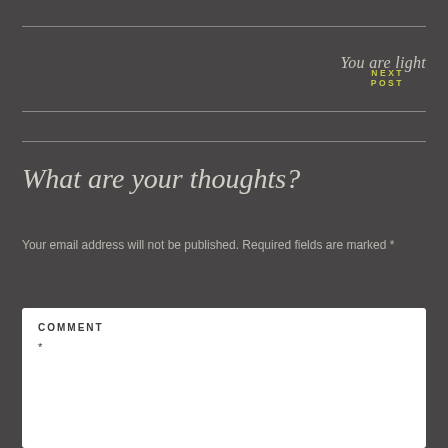NEXT POST
You are light
What are your thoughts?
Your email address will not be published. Required fields are marked *
COMMENT *